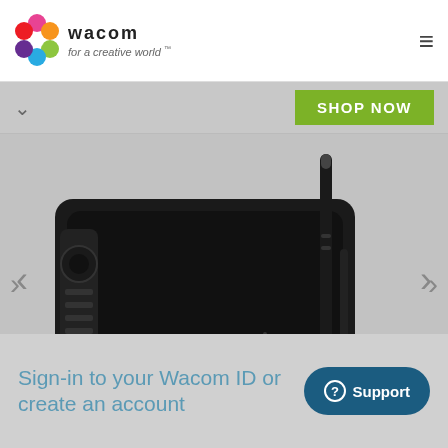[Figure (logo): Wacom logo with colorful flower-like icon and text 'wacom for a creative world']
wacom  for a creative world™
SHOP NOW
[Figure (photo): Wacom Intuos Pro drawing tablet with stylus pen and touch ring accessory on gray background]
Sign-in to your Wacom ID or create an account
Support